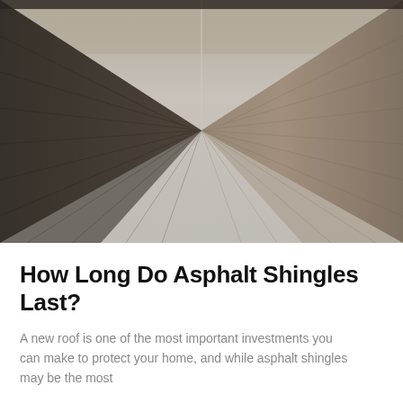[Figure (photo): Aerial or close-up view of asphalt shingles on a roof, showing dark brownish-grey shingle texture against a lighter grey sky/background. The ridgeline of the roof is visible forming a V or peak shape in the center of the image.]
How Long Do Asphalt Shingles Last?
A new roof is one of the most important investments you can make to protect your home, and while asphalt shingles may be the most